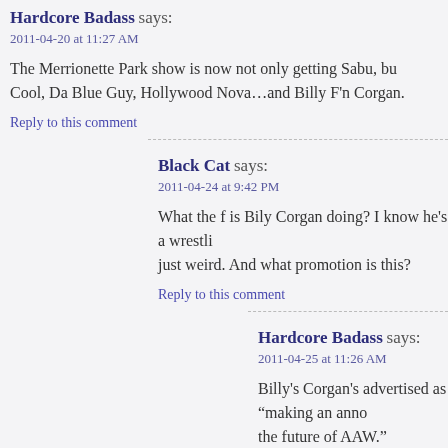Hardcore Badass says:
2011-04-20 at 11:27 AM
The Merrionette Park show is now not only getting Sabu, bu Cool, Da Blue Guy, Hollywood Nova…and Billy F'n Corgan.
Reply to this comment
Black Cat says:
2011-04-24 at 9:42 PM
What the f is Bily Corgan doing? I know he's a wrestli just weird. And what promotion is this?
Reply to this comment
Hardcore Badass says:
2011-04-25 at 11:26 AM
Billy's Corgan's advertised as “making an anno the future of AAW.”
Reply to this comment